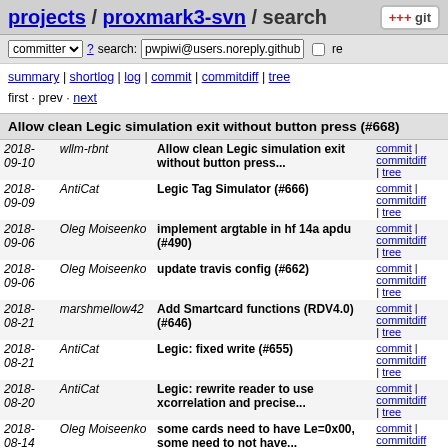projects / proxmark3-svn / search
committer ? search: pwpiwi@users.noreply.github re
summary | shortlog | log | commit | commitdiff | tree
first · prev · next
Allow clean Legic simulation exit without button press (#668)
| Date | Author | Message | Links |
| --- | --- | --- | --- |
| 2018-09-10 | wllm-rbnt | Allow clean Legic simulation exit without button press... | commit | commitdiff | tree |
| 2018-09-09 | AntiCat | Legic Tag Simulator (#666) | commit | commitdiff | tree |
| 2018-09-06 | Oleg Moiseenko | implement argtable in hf 14a apdu (#490) | commit | commitdiff | tree |
| 2018-09-06 | Oleg Moiseenko | update travis config (#662) | commit | commitdiff | tree |
| 2018-08-21 | marshmellow42 | Add Smartcard functions (RDV4.0) (#646) | commit | commitdiff | tree |
| 2018-08-21 | AntiCat | Legic: fixed write (#655) | commit | commitdiff | tree |
| 2018-08-20 | AntiCat | Legic: rewrite reader to use xcorrelation and precise... | commit | commitdiff | tree |
| 2018-08-14 | Oleg Moiseenko | some cards need to have Le=0x00, some need to not have... | commit | commitdiff | tree |